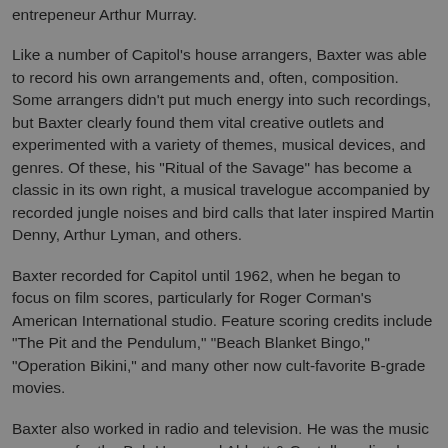entrepeneur Arthur Murray.
Like a number of Capitol's house arrangers, Baxter was able to record his own arrangements and, often, composition. Some arrangers didn't put much energy into such recordings, but Baxter clearly found them vital creative outlets and experimented with a variety of themes, musical devices, and genres. Of these, his "Ritual of the Savage" has become a classic in its own right, a musical travelogue accompanied by recorded jungle noises and bird calls that later inspired Martin Denny, Arthur Lyman, and others.
Baxter recorded for Capitol until 1962, when he began to focus on film scores, particularly for Roger Corman's American International studio. Feature scoring credits include "The Pit and the Pendulum," "Beach Blanket Bingo," "Operation Bikini," and many other now cult-favorite B-grade movies.
Baxter also worked in radio and television. He was the music arranger for the Bob Hope and Abbott & Costello radio shows and wrote and arranged for such TV shows as "Cli..." "The Mike Pack Show" "The Today..."